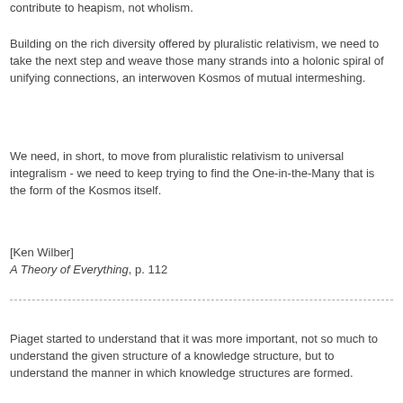contribute to heapism, not wholism.
Building on the rich diversity offered by pluralistic relativism, we need to take the next step and weave those many strands into a holonic spiral of unifying connections, an interwoven Kosmos of mutual intermeshing.
We need, in short, to move from pluralistic relativism to universal integralism - we need to keep trying to find the One-in-the-Many that is the form of the Kosmos itself.
[Ken Wilber]
A Theory of Everything, p. 112
Piaget started to understand that it was more important, not so much to understand the given structure of a knowledge structure, but to understand the manner in which knowledge structures are formed.